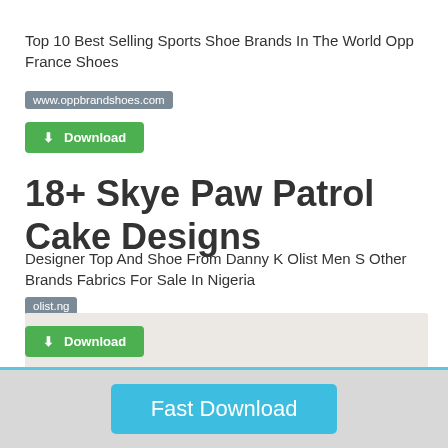Top 10 Best Selling Sports Shoe Brands In The World Opp France Shoes
www.oppbrandshoes.com
[Figure (other): Green Download button with download icon]
18+ Skye Paw Patrol Cake Designs
Designer Top And Shoe From Danny K Olist Men S Other Brands Fabrics For Sale In Nigeria
olist.ng
[Figure (other): Green Download button with download icon]
[Figure (other): Light beige/gray box background image area]
[Figure (other): Blue Fast Download button on gray background]